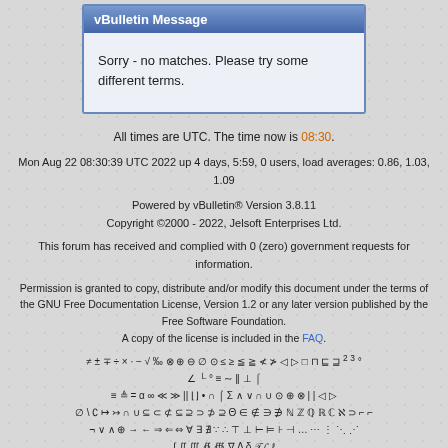vBulletin Message
Sorry - no matches. Please try some different terms.
All times are UTC. The time now is 08:30.
Mon Aug 22 08:30:39 UTC 2022 up 4 days, 5:59, 0 users, load averages: 0.86, 1.03, 1.09
Powered by vBulletin® Version 3.8.11
Copyright ©2000 - 2022, Jelsoft Enterprises Ltd.
This forum has received and complied with 0 (zero) government requests for information.
Permission is granted to copy, distribute and/or modify this document under the terms of the GNU Free Documentation License, Version 1.2 or any later version published by the Free Software Foundation.
A copy of the license is included in the FAQ.
≠ ± ∓ ÷ × · − √ ‰ ⊗ ⊕ ⊖ ∅ ⊙ ≤ ≥ ≦ ≧ ≮ ≯ ◁ ▷ □ ⊓ ⊑ ⊒ ² ³ °
∠ └ ° ≡ ∼ ‖ ⊥ ⌠
≡ ≜ = α ∞ ≪ ≫ || ⌊⌋ • ∩ ⌠ Σ ∧ ∨ ∩ ∪ ⊙ ⊕ ⊗ | | ◁ ▷
∅ \ ∁ ↦ ↣ ∩ ∪ ⊆ ⊂ ⊄ ⊆ ⊇ ⊃ ⊅ ⊇ Θ ∈ ∉ ∋ ∌ ℕ ℤ ℚ ℝ ℂ ℵ ⊃ ⌐ ⌐
¬ ∨ ∧ ⊕ → ← ⇒ ⇐ ⇔ ∀ ∃ ∄ ∵ ∴ ⊤ ⊥ ⊢ ⊨ ⊦ ⊣ … ⋯ ⋮ ⋱ ⋰
∫ ∬ ∭ ∯ ∰ ∇ Δ δ 𝒯 𝓛 ℓ